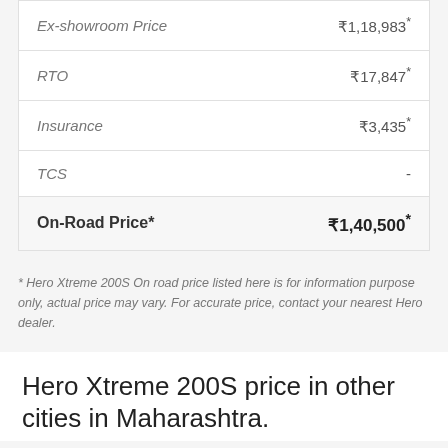|  |  |
| --- | --- |
| Ex-showroom Price | ₹1,18,983* |
| RTO | ₹17,847* |
| Insurance | ₹3,435* |
| TCS | - |
| On-Road Price* | ₹1,40,500* |
* Hero Xtreme 200S On road price listed here is for information purpose only, actual price may vary. For accurate price, contact your nearest Hero dealer.
Hero Xtreme 200S price in other cities in Maharashtra.